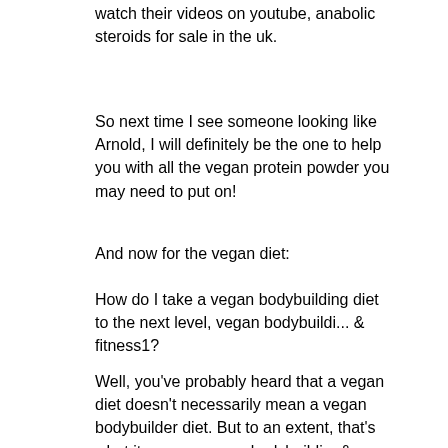watch their videos on youtube, anabolic steroids for sale in the uk.
So next time I see someone looking like Arnold, I will definitely be the one to help you with all the vegan protein powder you may need to put on!
And now for the vegan diet:
How do I take a vegan bodybuilding diet to the next level, vegan bodybuildi... & fitness1?
Well, you've probably heard that a vegan diet doesn't necessarily mean a vegan bodybuilder diet. But to an extent, that's what it means, vegan bodybuildi... & fitness2.